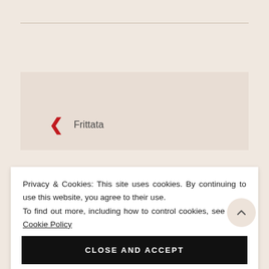← Frittata
Privacy & Cookies: This site uses cookies. By continuing to use this website, you agree to their use. To find out more, including how to control cookies, see here: Cookie Policy
CLOSE AND ACCEPT
Leave a Reply